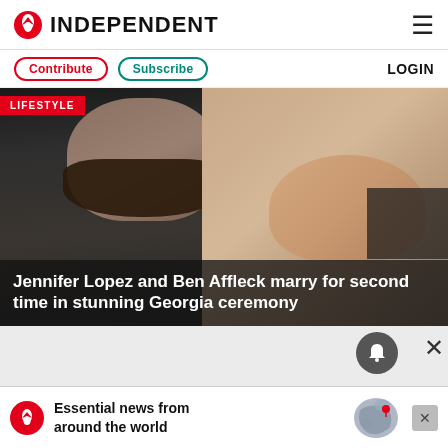INDEPENDENT
Contribute  Subscribe  LOGIN
[Figure (photo): Ben Affleck and Jennifer Lopez at an event, man in black tuxedo on left, woman smiling on right, with LIFESTYLE tag overlay and headline: Jennifer Lopez and Ben Affleck marry for second time in stunning Georgia ceremony]
Jennifer Lopez and Ben Affleck marry for second time in stunning Georgia ceremony
Essential news from around the world